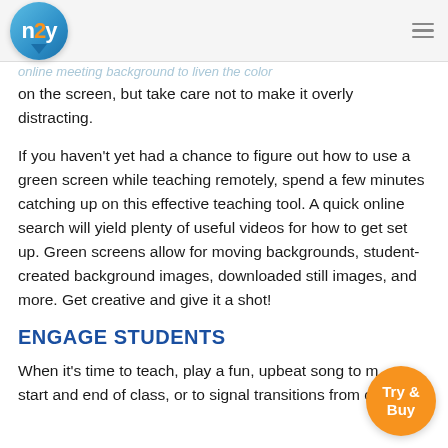n2y logo and navigation header
online meeting background to liven the color on the screen, but take care not to make it overly distracting.
If you haven't yet had a chance to figure out how to use a green screen while teaching remotely, spend a few minutes catching up on this effective teaching tool. A quick online search will yield plenty of useful videos for how to get set up. Green screens allow for moving backgrounds, student-created background images, downloaded still images, and more. Get creative and give it a shot!
ENGAGE STUDENTS
When it's time to teach, play a fun, upbeat song to mark the start and end of class, or to signal transitions from one type